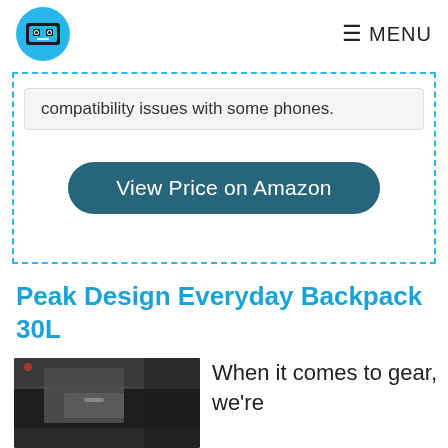MENU
compatibility issues with some phones.
View Price on Amazon
Peak Design Everyday Backpack 30L
[Figure (photo): Overhead photo of a dark backpack on a grey/concrete surface]
When it comes to gear, we're